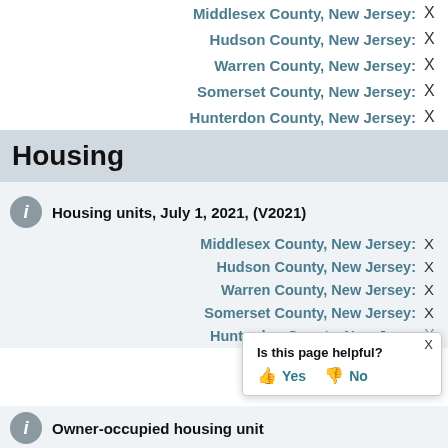Middlesex County, New Jersey: X
Hudson County, New Jersey: X
Warren County, New Jersey: X
Somerset County, New Jersey: X
Hunterdon County, New Jersey: X
Housing
Housing units, July 1, 2021, (V2021)
Middlesex County, New Jersey: X
Hudson County, New Jersey: X
Warren County, New Jersey: X
Somerset County, New Jersey: X
Hunterdon County, New Jersey: X
Is this page helpful? Yes No
Owner-occupied housing unit